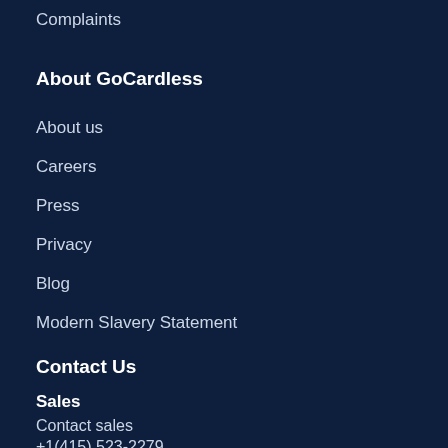Complaints
About GoCardless
About us
Careers
Press
Privacy
Blog
Modern Slavery Statement
Contact Us
Sales
Contact sales
+1(415) 523-2279